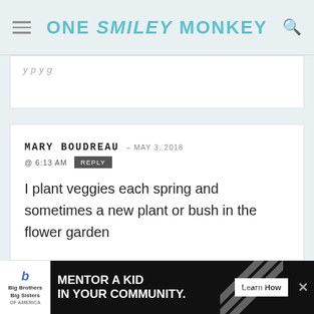ONE SMILEY MONKEY
y p g
MARY BOUDREAU – MAY 3, 2018 @ 6:13 AM REPLY

I plant veggies each spring and sometimes a new plant or bush in the flower garden
SAB EDWARDS – MAY 3, 2018 @ 9:40 AM REPLY
[Figure (screenshot): Ad banner at the bottom: Big Brothers Big Sisters logo, text 'MENTOR A KID IN YOUR COMMUNITY.', Learn How button]